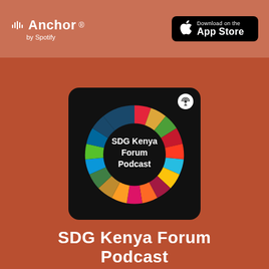[Figure (logo): Anchor by Spotify logo in white on terracotta background]
[Figure (logo): Download on the App Store badge, black background]
[Figure (illustration): SDG Kenya Forum Podcast logo: colorful SDG wheel (17 colored segments) on black rounded square background with podcast broadcast icon in top-right corner. Text 'SDG Kenya Forum Podcast' in white in the center.]
SDG Kenya Forum Podcast